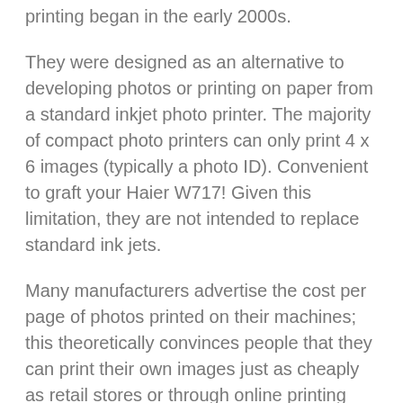printing began in the early 2000s.
They were designed as an alternative to developing photos or printing on paper from a standard inkjet photo printer. The majority of compact photo printers can only print 4 x 6 images (typically a photo ID). Convenient to graft your Haier W717! Given this limitation, they are not intended to replace standard ink jets.
Many manufacturers advertise the cost per page of photos printed on their machines; this theoretically convinces people that they can print their own images just as cheaply as retail stores or through online printing services.
Most compact photo printers share a similar design.